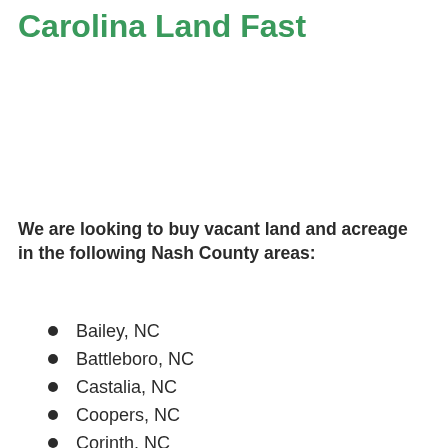Carolina Land Fast
We are looking to buy vacant land and acreage in the following Nash County areas:
Bailey, NC
Battleboro, NC
Castalia, NC
Coopers, NC
Corinth, NC
Dortches, NC